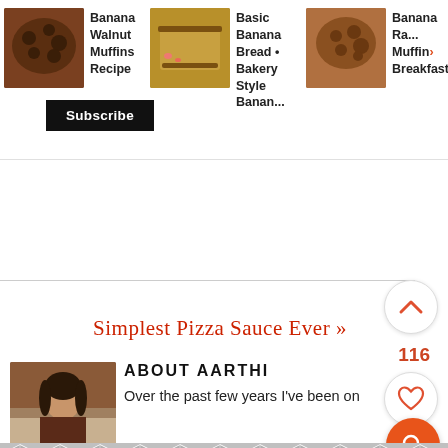[Figure (screenshot): Recipe card thumbnails row: Banana Walnut Muffins Recipe, Basic Banana Bread Bakery Style Banan..., Banana Ra... Muffin... Breakfast...]
Banana Walnut Muffins Recipe
Basic Banana Bread • Bakery Style Banan...
Banana Ra... Muffin... Breakfast...
Subscribe
Simplest Pizza Sauce Ever »
[Figure (other): Up arrow chevron button circle]
116
[Figure (other): Heart/like button circle]
[Figure (other): Orange search button circle]
[Figure (photo): Photo of Aarthi in kitchen]
ABOUT AARTHI
Over the past few years I've been on
[Figure (other): Bottom advertisement with geometric diamond/hexagon pattern in gray]
X